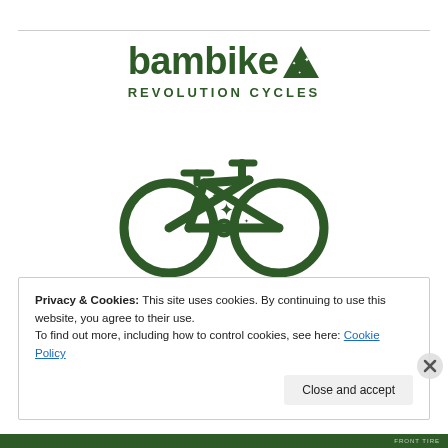[Figure (logo): Bambike Revolution Cycles logo: bold green 'bambike' text with a filled triangle badge containing stars, below it 'REVOLUTION CYCLES' in spaced capitals, and a large green bicycle icon with a triangle frame design containing a star.]
Privacy & Cookies: This site uses cookies. By continuing to use this website, you agree to their use.
To find out more, including how to control cookies, see here: Cookie Policy
Close and accept